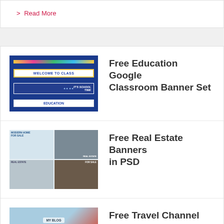> Read More
[Figure (illustration): Education Google Classroom banner set thumbnail showing three banners: 'Welcome to Class', 'It's School Time', and 'Education' on a blue background with colorful school elements]
Free Education Google Classroom Banner Set
[Figure (illustration): Real Estate banners in PSD thumbnail showing four banner layouts with house images, 'Modern Home For Sale', 'Real Estate', and 'For Sale' text]
Free Real Estate Banners in PSD
[Figure (illustration): Travel Channel YouTube Banners Set thumbnail showing a banner with travel imagery]
Free Travel Channel Youtube Banners Set